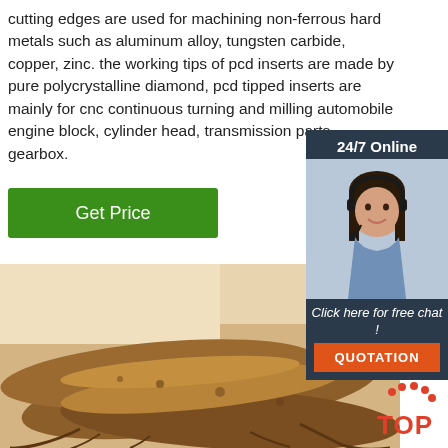cutting edges are used for machining non-ferrous hard metals such as aluminum alloy, tungsten carbide, copper, zinc. the working tips of pcd inserts are made by pure polycrystalline diamond, pcd tipped inserts are mainly for cnc continuous turning and milling automobile engine block, cylinder head, transmission parts, gearbox.
[Figure (other): Green 'Get Price' button]
[Figure (photo): Close-up photograph of ginseng roots on a light wooden surface]
[Figure (other): 24/7 Online chat widget with customer service representative photo, 'Click here for free chat!' text, and orange QUOTATION button]
[Figure (other): TOP badge with orange dots in upper right corner of ginseng photo]